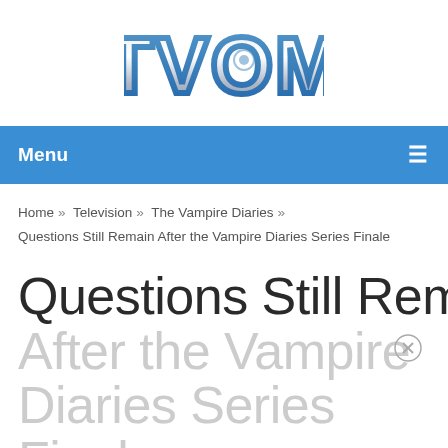[Figure (logo): TVOM logo — metallic silver 3D lettering with blue outline]
Menu ≡
Home » Television » The Vampire Diaries » Questions Still Remain After the Vampire Diaries Series Finale
Questions Still Remain After the Vampire Diaries Series Finale